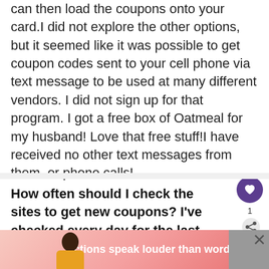can then load the coupons onto your card.I did not explore the other options, but it seemed like it was possible to get coupon codes sent to your cell phone via text message to be used at many different vendors. I did not sign up for that program. I got a free box of Oatmeal for my husband! Love that free stuff!I have received no other text messages from them, or phone calls!
How often should I check the sites to get new coupons? I've checked every day for the last few, but haven't seen anything. Is it one day of the week, or month?
[Figure (screenshot): Ad banner at the bottom of the page with pink/red gradient background, a person in yellow shirt, close button X, and text 'Actions speak louder than words.' in white bold text]